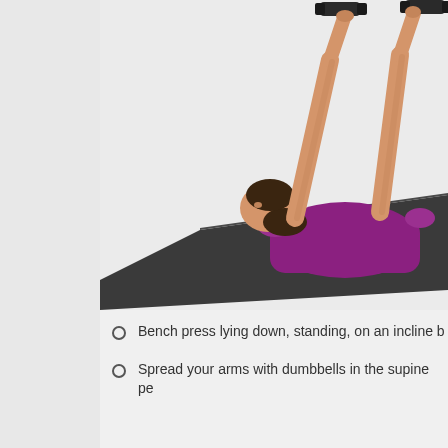[Figure (photo): Woman lying on a dark exercise mat on the floor, wearing a purple/magenta sleeveless top, performing a dumbbell chest press exercise with both arms extended upward holding black dumbbells. The background is light grey/white.]
Bench press lying down, standing, on an incline b...
Spread your arms with dumbbells in the supine pe...